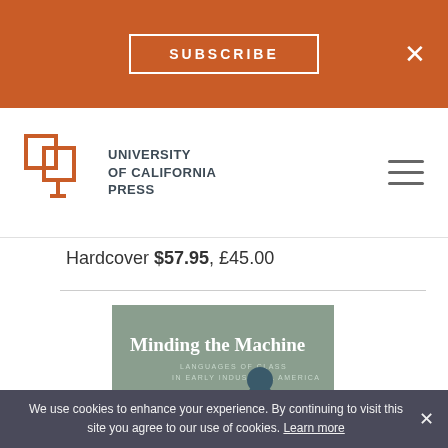SUBSCRIBE
[Figure (logo): University of California Press logo with UCP book icon and text]
Hardcover $57.95, £45.00
[Figure (photo): Book cover: Minding the Machine, Languages of Class in Early Industrial America, showing an illustration of a worker at machinery on a sage green background]
We use cookies to enhance your experience. By continuing to visit this site you agree to our use of cookies. Learn more